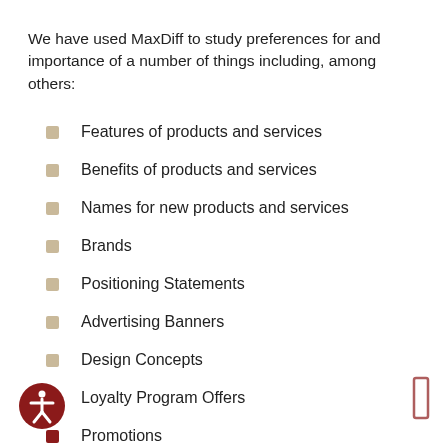We have used MaxDiff to study preferences for and importance of a number of things including, among others:
Features of products and services
Benefits of products and services
Names for new products and services
Brands
Positioning Statements
Advertising Banners
Design Concepts
Loyalty Program Offers
Promotions